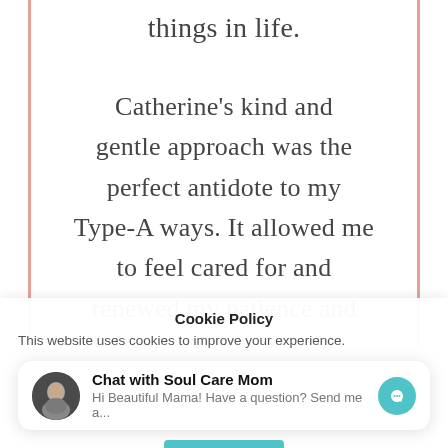things in life.
Catherine's kind and gentle approach was the perfect antidote to my Type-A ways. It allowed me to feel cared for and renewed my patience and
Cookie Policy
This website uses cookies to improve your experience.
Chat with Soul Care Mom
Hi Beautiful Mama! Have a question? Send me a...